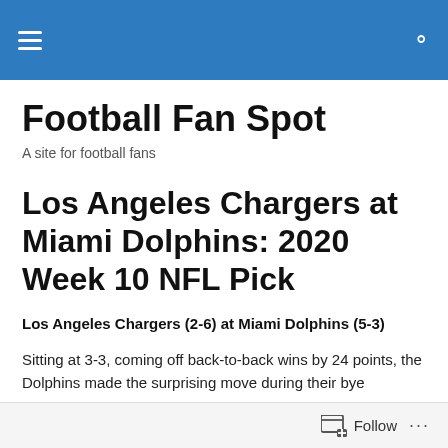Football Fan Spot — site navigation header
Football Fan Spot
A site for football fans
Los Angeles Chargers at Miami Dolphins: 2020 Week 10 NFL Pick
Los Angeles Chargers (2-6) at Miami Dolphins (5-3)
Sitting at 3-3, coming off back-to-back wins by 24 points, the Dolphins made the surprising move during their bye